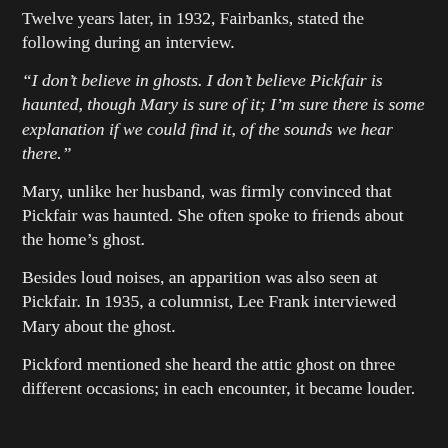Twelve years later, in 1932, Fairbanks, stated the following during an interview.
“I don’t believe in ghosts. I don’t believe Pickfair is haunted, though Mary is sure of it; I’m sure there is some explanation if we could find it, of the sounds we hear there.”
Mary, unlike her husband, was firmly convinced that Pickfair was haunted. She often spoke to friends about the home’s ghost.
Besides loud noises, an apparition was also seen at Pickfair. In 1935, a columnist, Lee Frank interviewed Mary about the ghost.
Pickford mentioned she heard the attic ghost on three different occasions; in each encounter, it became louder.